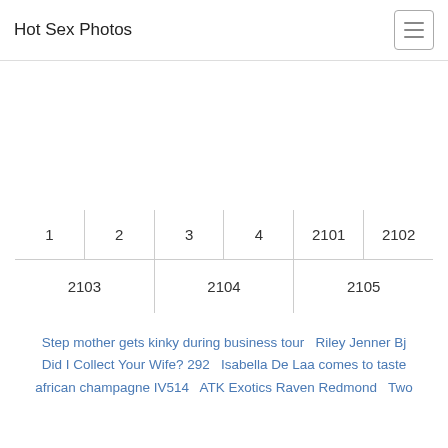Hot Sex Photos
[Figure (other): Advertisement / empty ad banner area]
| 1 | 2 | 3 | 4 | 2101 | 2102 |
| 2103 | 2104 | 2105 |
Step mother gets kinky during business tour   Riley Jenner Bj   Did I Collect Your Wife? 292   Isabella De Laa comes to taste african champagne IV514   ATK Exotics Raven Redmond   Two